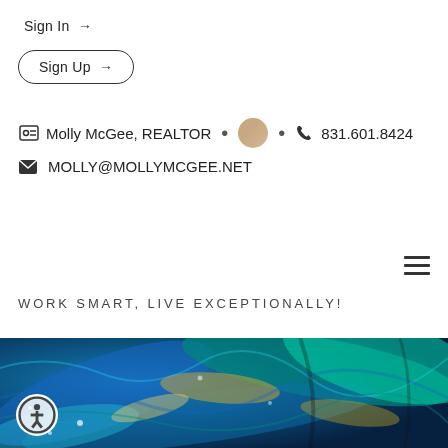Sign In →
Sign Up →
Molly McGee, REALTOR • 831.601.8424
MOLLY@MOLLYMCGEE.NET
WORK SMART, LIVE EXCEPTIONALLY!
[Figure (photo): Abstract iridescent abalone shell or colorful water swirl with blue, green, teal, and gold tones]